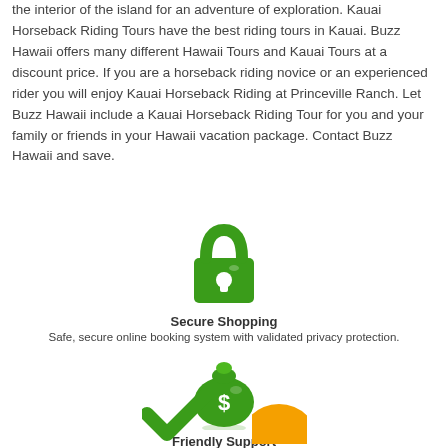the interior of the island for an adventure of exploration. Kauai Horseback Riding Tours have the best riding tours in Kauai. Buzz Hawaii offers many different Hawaii Tours and Kauai Tours at a discount price. If you are a horseback riding novice or an experienced rider you will enjoy Kauai Horseback Riding at Princeville Ranch. Let Buzz Hawaii include a Kauai Horseback Riding Tour for you and your family or friends in your Hawaii vacation package. Contact Buzz Hawaii and save.
[Figure (illustration): Green padlock icon representing secure shopping]
Secure Shopping
Safe, secure online booking system with validated privacy protection.
[Figure (illustration): Green money bag icon with dollar sign representing friendly support]
Friendly Support
Our staff will help you select the best tours and activities and ensure 100% satisfaction.
[Figure (illustration): Green checkmark icon partially visible at bottom]
[Figure (illustration): Orange circle icon partially visible at bottom right]